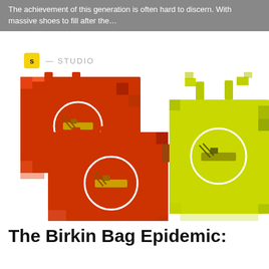The achievement of this generation is often hard to discern. With massive shoes to fill after the…
S — STUDIO
[Figure (photo): Pixelated/mosaic-style illustration of two Hermès Birkin bags: two orange bags on the left with circular zoom insets showing the clasp detail, and one yellow-green bag on the right also with a circular zoom inset showing the clasp.]
The Birkin Bag Epidemic: